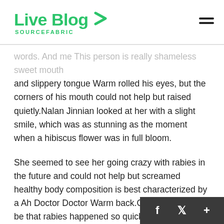Live Blog SOURCEFABRIC
words. And me This person is really shameless sweet mouth and slippery tongue Warm rolled his eyes, but the corners of his mouth could not help but raised quietly.Nalan Jinnian looked at her with a slight smile, which was as stunning as the moment when a hibiscus flower was in full bloom.
She seemed to see her going crazy with rabies in the future and could not help but screamed healthy body composition is best characterized by a Ah Doctor Doctor Warm back.One step Couldn it be that rabies happened so quickly I heard that when rabies comes up, people biting people will be contagious Everyone heard the words, unconsciously, the hind legs were big.
Back then, I was not fascinated by the Tan family, birth to Lin Jingxuan is rebellious son Do Ed Bill